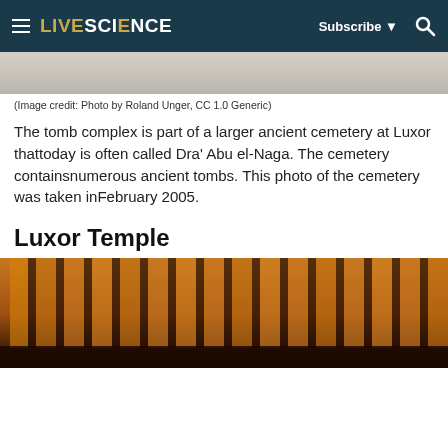LIVESCIENCE — Subscribe | Search
[Figure (photo): Top portion of a stone/rock surface — the bottom edge of an image from Dra' Abu el-Naga cemetery]
(Image credit: Photo by Roland Unger, CC 1.0 Generic)
The tomb complex is part of a larger ancient cemetery at Luxor thattoday is often called Dra' Abu el-Naga. The cemetery containsnumerous ancient tombs. This photo of the cemetery was taken inFebruary 2005.
Luxor Temple
[Figure (photo): Night photograph of Luxor Temple columns illuminated in warm orange/amber light against a dark background]